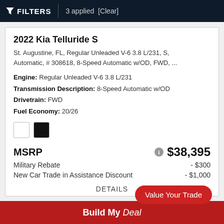FILTERS | 3 applied [Clear]
2022 Kia Telluride S
St. Augustine, FL, Regular Unleaded V-6 3.8 L/231, S, Automatic, # 308618, 8-Speed Automatic w/OD, FWD, ...
Engine: Regular Unleaded V-6 3.8 L/231
Transmission Description: 8-Speed Automatic w/OD
Drivetrain: FWD
Fuel Economy: 20/26
MSRP  $38,395
Military Rebate  - $300
New Car Trade in Assistance Discount  - $1,000
DETAILS
Value Your Trade
Build My Deal